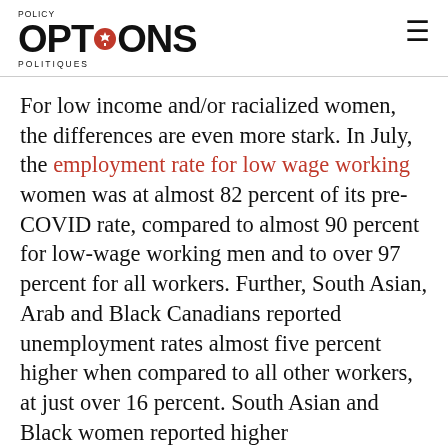POLICY OPTIONS POLITIQUES
For low income and/or racialized women, the differences are even more stark. In July, the employment rate for low wage working women was at almost 82 percent of its pre-COVID rate, compared to almost 90 percent for low-wage working men and to over 97 percent for all workers. Further, South Asian, Arab and Black Canadians reported unemployment rates almost five percent higher when compared to all other workers, at just over 16 percent. South Asian and Black women reported higher unemployment rates than South Asian and Black men, respectively.